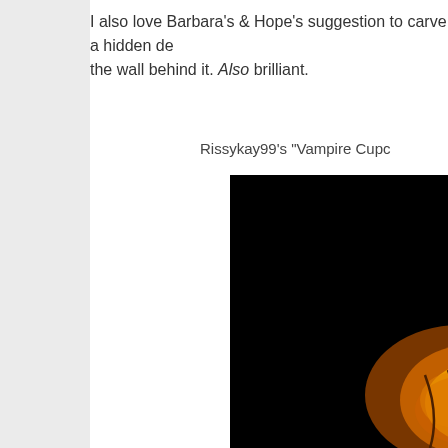I also love Barbara's & Hope's suggestion to carve a hidden de... the wall behind it. Also brilliant.
Rissykay99's "Vampire Cupc...
[Figure (photo): Dark photo of a glowing carved pumpkin with orange/yellow light illuminating its surface, visible in the bottom-right portion of a mostly black image. Appears to be a vampire-themed cupcake pumpkin carving.]